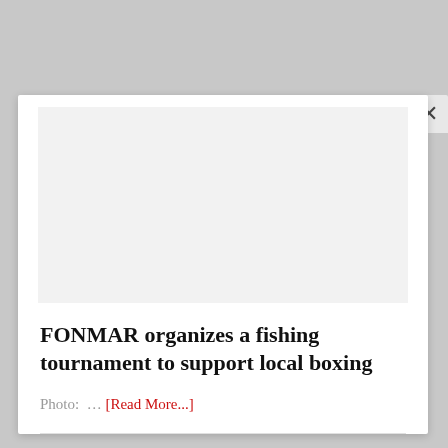[Figure (photo): Light gray image placeholder area within a modal/popup dialog box]
FONMAR organizes a fishing tournament to support local boxing
Photo: … [Read More...]